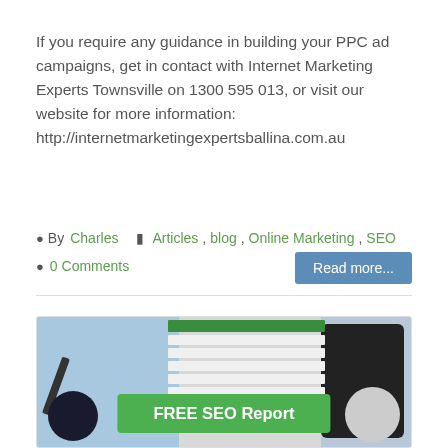If you require any guidance in building your PPC ad campaigns, get in contact with Internet Marketing Experts Townsville on 1300 595 013, or visit our website for more information: http://internetmarketingexpertsballina.com.au
By Charles  Articles, blog, Online Marketing, SEO  0 Comments
[Figure (photo): Composite image of a tablet showing a spreadsheet, a coffee cup, a pen, and a dark notebook on a desk. A green 'FREE SEO Report' button overlays the bottom center.]